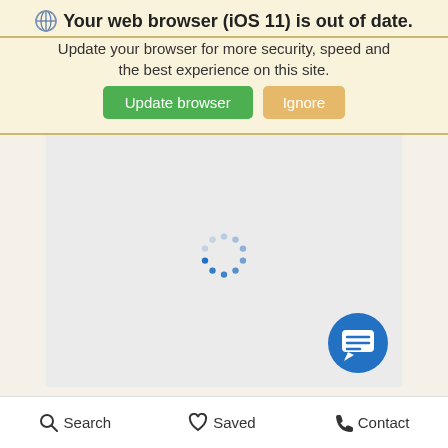Your web browser (iOS 11) is out of date.
Update your browser for more security, speed and the best experience on this site.
[Figure (screenshot): Two buttons: 'Update browser' (green) and 'Ignore' (tan/orange)]
[Figure (screenshot): Grey loading area with a blue spinning dots loader indicator in the center, and a blue circular chat FAB button in the bottom right]
Search   Saved   Contact